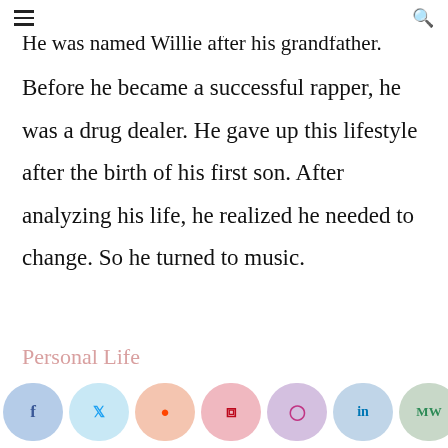≡  [search icon]
He was named Willie after his grandfather.
Before he became a successful rapper, he was a drug dealer. He gave up this lifestyle after the birth of his first son. After analyzing his life, he realized he needed to change. So he turned to music.
Personal Life
[Figure (other): Social media share buttons row: Facebook, Twitter, Reddit, Pinterest, Instagram, LinkedIn, MW, and another button]